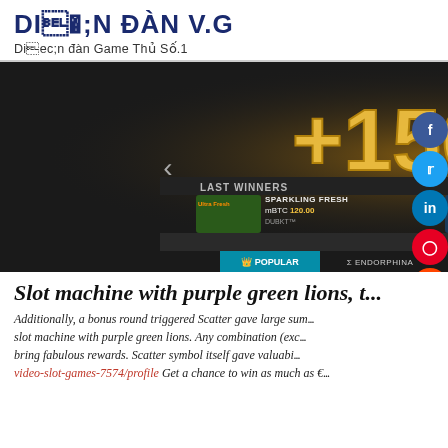DIỄN ĐÀN V.G
Diễn đàn Game Thủ Số.1
[Figure (screenshot): Casino website screenshot showing +150% bonus banner with golden coins, last winners section showing SPARKLING FRESH mBTC 120.00, LUCKY REELS mBTC 101.00, SPARKLING FRESH mBTC 100.00, bitcoin information bar, navigation with POPULAR, ENDORPHINA, NOVOMATIC, NETENT tabs, and HOT/NEW game thumbnails. Social share buttons (Facebook, Twitter, LinkedIn, Pinterest, Reddit, WhatsApp, Email) on the right side.]
Slot machine with purple green lions, t...
Additionally, a bonus round triggered Scatter gave large sum... slot machine with purple green lions. Any combination (exc... bring fabulous rewards. Scatter symbol itself gave valuabi... video-slot-games-7574/profile Get a chance to win as much as €...